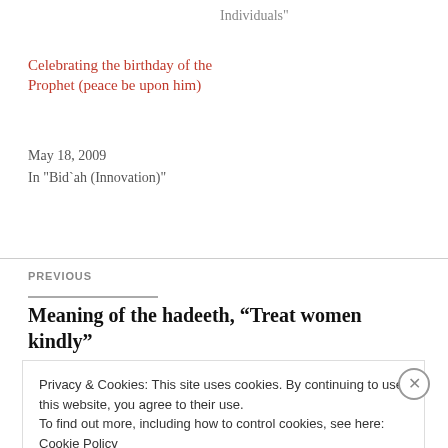Individuals"
Celebrating the birthday of the Prophet (peace be upon him)
May 18, 2009
In "Bid`ah (Innovation)"
PREVIOUS
Meaning of the hadeeth, “Treat women kindly”
Privacy & Cookies: This site uses cookies. By continuing to use this website, you agree to their use.
To find out more, including how to control cookies, see here: Cookie Policy